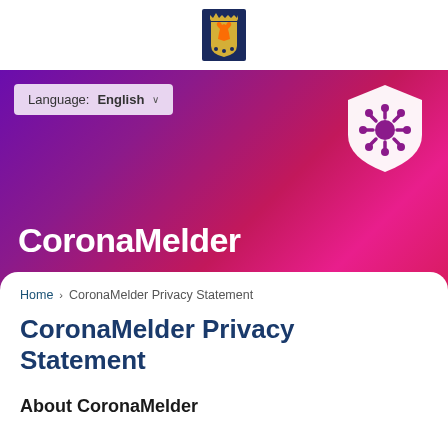[Figure (logo): Dutch government coat of arms / rijksoverheid logo in dark navy blue]
[Figure (illustration): CoronaMelder app header banner with purple-to-pink gradient background, language selector dropdown showing English, shield icon with coronavirus symbol in white, and CoronaMelder app name in white bold text]
Home > CoronaMelder Privacy Statement
CoronaMelder Privacy Statement
About CoronaMelder